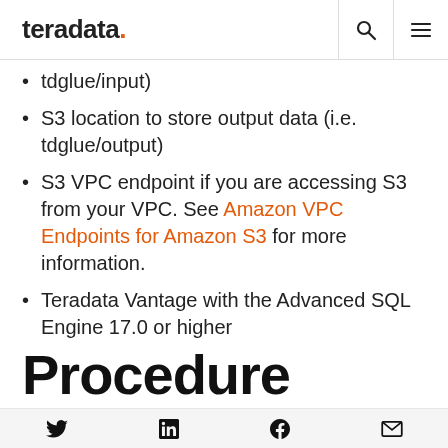teradata.
tdglue/input)
S3 location to store output data (i.e. tdglue/output)
S3 VPC endpoint if you are accessing S3 from your VPC. See Amazon VPC Endpoints for Amazon S3 for more information.
Teradata Vantage with the Advanced SQL Engine 17.0 or higher
Procedure
Twitter LinkedIn Facebook Email